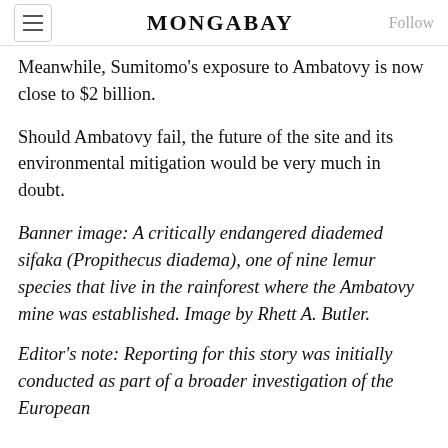MONGABAY
Meanwhile, Sumitomo's exposure to Ambatovy is now close to $2 billion.
Should Ambatovy fail, the future of the site and its environmental mitigation would be very much in doubt.
Banner image: A critically endangered diademed sifaka (Propithecus diadema), one of nine lemur species that live in the rainforest where the Ambatovy mine was established. Image by Rhett A. Butler.
Editor's note: Reporting for this story was initially conducted as part of a broader investigation of the European